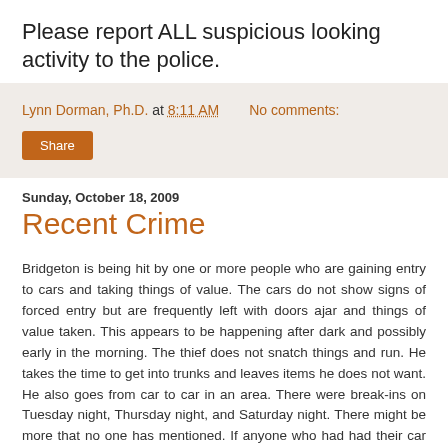Please report ALL suspicious looking activity to the police.
Lynn Dorman, Ph.D. at 8:11 AM    No comments:
Share
Sunday, October 18, 2009
Recent Crime
Bridgeton is being hit by one or more people who are gaining entry to cars and taking things of value. The cars do not show signs of forced entry but are frequently left with doors ajar and things of value taken. This appears to be happening after dark and possibly early in the morning. The thief does not snatch things and run. He takes the time to get into trunks and leaves items he does not want. He also goes from car to car in an area. There were break-ins on Tuesday night, Thursday night, and Saturday night. There might be more that no one has mentioned. If anyone who had had their car rifled through to report it to the non emergency number (503-